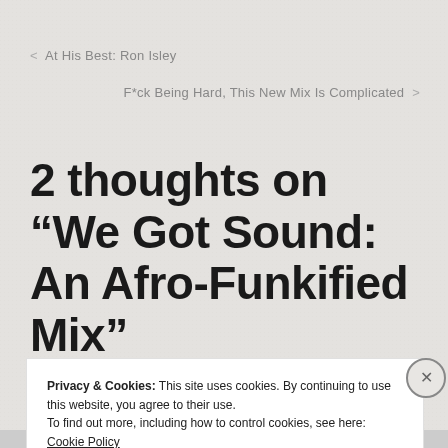< At His Best: Ron Isley
F*ck Being Hard, This New Mix Is Complicated >
2 thoughts on “We Got Sound: An Afro-Funkified Mix”
Privacy & Cookies: This site uses cookies. By continuing to use this website, you agree to their use.
To find out more, including how to control cookies, see here: Cookie Policy
Close and accept